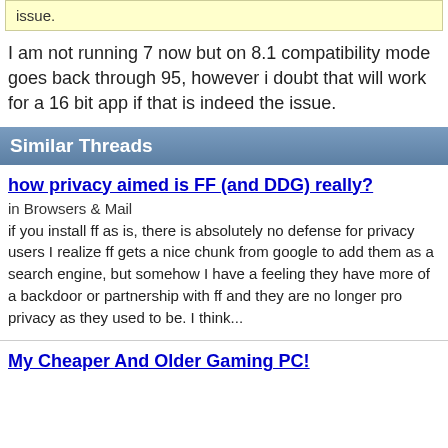issue.
I am not running 7 now but on 8.1 compatibility mode goes back through 95, however i doubt that will work for a 16 bit app if that is indeed the issue.
Similar Threads
how privacy aimed is FF (and DDG) really?
in Browsers & Mail
if you install ff as is, there is absolutely no defense for privacy users I realize ff gets a nice chunk from google to add them as a search engine, but somehow I have a feeling they have more of a backdoor or partnership with ff and they are no longer pro privacy as they used to be. I think...
My Cheaper And Older Gaming PC!